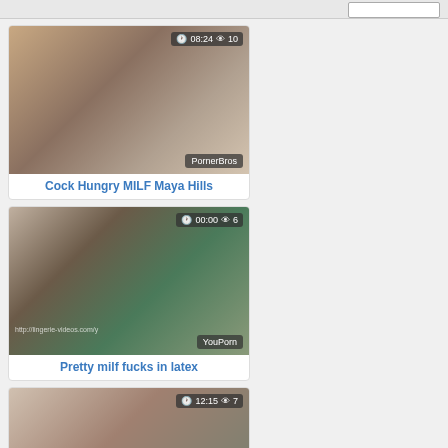[Figure (screenshot): Video thumbnail for 'Cock Hungry MILF Maya Hills' with duration badge '08:24' and view count '10', source badge 'PornerBros']
Cock Hungry MILF Maya Hills
[Figure (screenshot): Video thumbnail for 'Pretty milf fucks in latex' with duration badge '00:00' and view count '6', source badge 'YouPorn', watermark 'http://lingerie-videos.com/y']
Pretty milf fucks in latex
[Figure (screenshot): Video thumbnail (partial, third card) with duration badge '12:15' and view count '7']